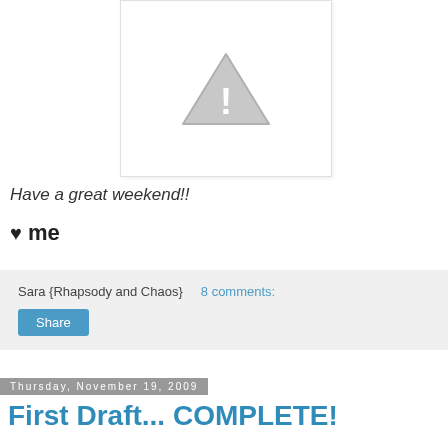[Figure (illustration): Broken image placeholder with gray triangle warning icon containing exclamation mark]
Have a great weekend!!
♥ me
Sara {Rhapsody and Chaos}   8 comments:
Share
Thursday, November 19, 2009
First Draft... COMPLETE!